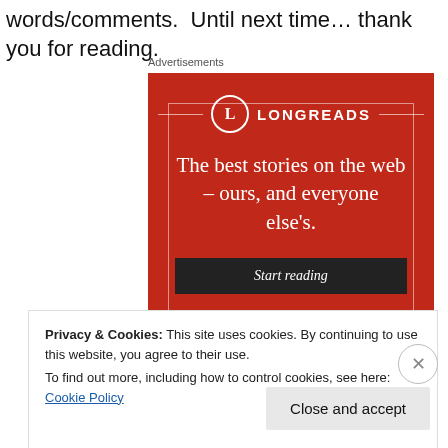words/comments.  Until next time… thank you for reading.
Advertisements
[Figure (illustration): Longreads advertisement on red background with tagline 'The best stories on the web – ours, and everyone else's.' and a 'Start reading' button]
Privacy & Cookies: This site uses cookies. By continuing to use this website, you agree to their use.
To find out more, including how to control cookies, see here: Cookie Policy